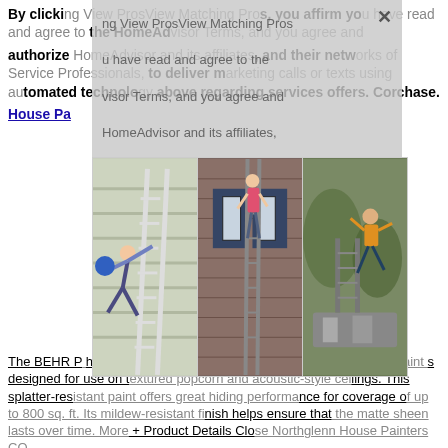By clicking View ProsView Matching Pros, you affirm you have read and agree to the HomeAdvisor Terms, and you agree and authorize HomeAdvisor and its affiliates, and their networks of Service Professionals, to deliver marketing calls or texts using automated technology to the number you provided above regarding your project and other home services offers. Consent is not a condition of purchase. House Pa...
[Figure (photo): Three overlapping photos of house painters on ladders in dangerous/acrobatic positions, displayed as a horizontal strip over a semi-transparent gray modal overlay with a close (X) button]
The BEHR PREMIUM PLUS 2 gal. Flat Interior Ceiling Paint is designed for use on textured popcorn and acoustic-style ceilings. This splatter-resistant paint offers great hiding performance for coverage of up to 800 sq. ft. Its mildew-resistant finish helps ensure that the matte sheen lasts over time. More + Product Details Close Northglenn House Painters CO
Homeowners report that painting a home's exterior costs an average of $2,847 with a typical range between $1,710 and $3,992. The average price per square foot ranges from